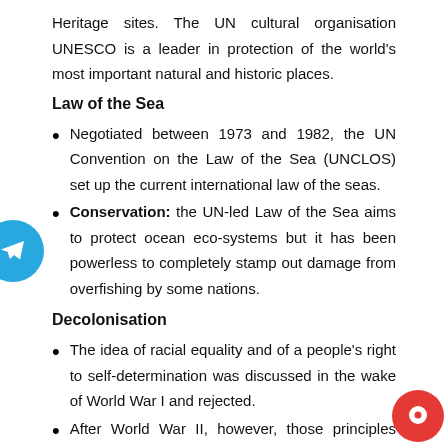Heritage sites. The UN cultural organisation UNESCO is a leader in protection of the world's most important natural and historic places.
Law of the Sea
Negotiated between 1973 and 1982, the UN Convention on the Law of the Sea (UNCLOS) set up the current international law of the seas.
Conservation: the UN-led Law of the Sea aims to protect ocean eco-systems but it has been powerless to completely stamp out damage from overfishing by some nations.
Decolonisation
The idea of racial equality and of a people's right to self-determination was discussed in the wake of World War I and rejected.
After World War II, however, those principles were